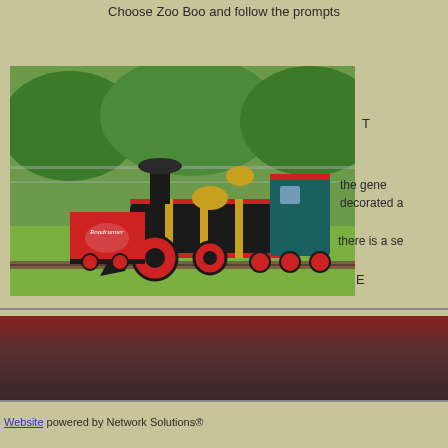Choose Zoo Boo and follow the prompts
[Figure (photo): A red and black vintage miniature steam locomotive on tracks in a grassy zoo setting with trees in the background]
T
the gene
decorated a
there is a se
E
Website powered by Network Solutions®